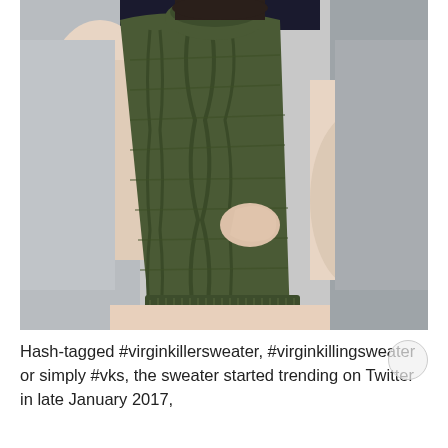[Figure (photo): A person wearing a dark olive green cable-knit backless turtleneck sweater (virgin killer sweater), photographed from behind, with bare sides and back visible. The person's face is hidden by the turtleneck pulled up. They are leaning against a light grey surface.]
Hash-tagged #virginkillersweater, #virginkillingsweater or simply #vks, the sweater started trending on Twitter in late January 2017,